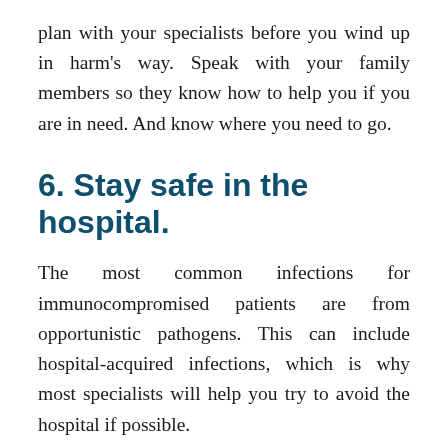plan with your specialists before you wind up in harm's way. Speak with your family members so they know how to help you if you are in need. And know where you need to go.
6. Stay safe in the hospital.
The most common infections for immunocompromised patients are from opportunistic pathogens. This can include hospital-acquired infections, which is why most specialists will help you try to avoid the hospital if possible.
But sometimes it's unavoidable. In these